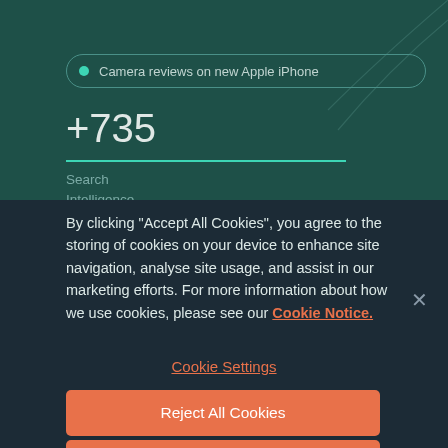[Figure (screenshot): Dark teal background with decorative curved lines in top right corner, a search bar pill showing 'Camera reviews on new Apple iPhone', a large '+735' number below it with a teal underline, and 'Search Intelligence' text.]
By clicking "Accept All Cookies", you agree to the storing of cookies on your device to enhance site navigation, analyse site usage, and assist in our marketing efforts. For more information about how we use cookies, please see our Cookie Notice.
Cookie Settings
Reject All Cookies
Accept All Cookies